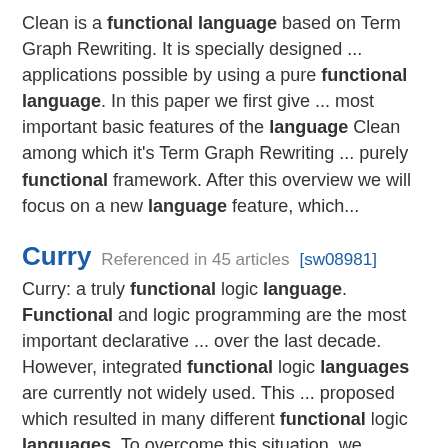Clean is a functional language based on Term Graph Rewriting. It is specially designed ... applications possible by using a pure functional language. In this paper we first give ... most important basic features of the language Clean among which it's Term Graph Rewriting ... purely functional framework. After this overview we will focus on a new language feature, which...
Curry   Referenced in 45 articles [sw08981]
Curry: a truly functional logic language. Functional and logic programming are the most important declarative ... over the last decade. However, integrated functional logic languages are currently not widely used. This ... proposed which resulted in many different functional logic languages. To overcome this situation, we propose ... functional logic language Curry which can deal as a standard language in this area...
MiniML   Referenced in 47 articles [sw29625]